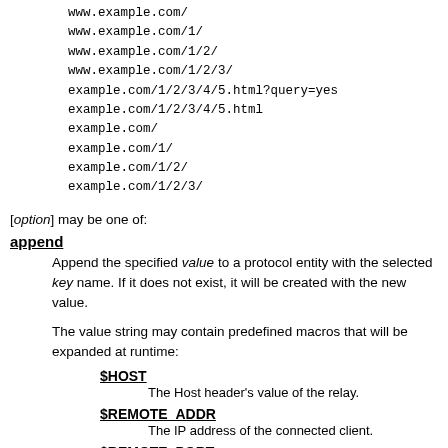www.example.com/
www.example.com/1/
www.example.com/1/2/
www.example.com/1/2/3/
example.com/1/2/3/4/5.html?query=yes
example.com/1/2/3/4/5.html
example.com/
example.com/1/
example.com/1/2/
example.com/1/2/3/
[option] may be one of:
append
Append the specified value to a protocol entity with the selected key name. If it does not exist, it will be created with the new value.
The value string may contain predefined macros that will be expanded at runtime:
$HOST
The Host header's value of the relay.
$REMOTE_ADDR
The IP address of the connected client.
$REMOTE_PORT
The TCP source port of the connected client.
$SERVER_ADDR